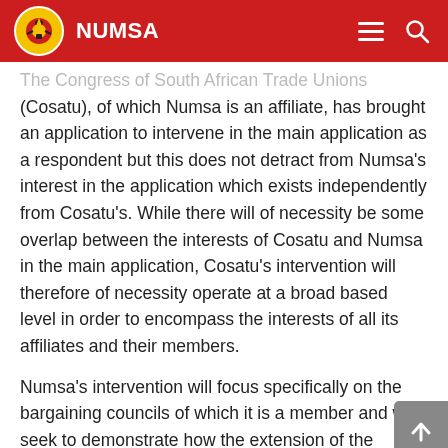NUMSA
The Congress of South African Trade Unions (Cosatu), of which Numsa is an affiliate, has brought an application to intervene in the main application as a respondent but this does not detract from Numsa's interest in the application which exists independently from Cosatu's. While there will of necessity be some overlap between the interests of Cosatu and Numsa in the main application, Cosatu's intervention will therefore of necessity operate at a broad based level in order to encompass the interests of all its affiliates and their members.
Numsa's intervention will focus specifically on the bargaining councils of which it is a member and will seek to demonstrate how the extension of the